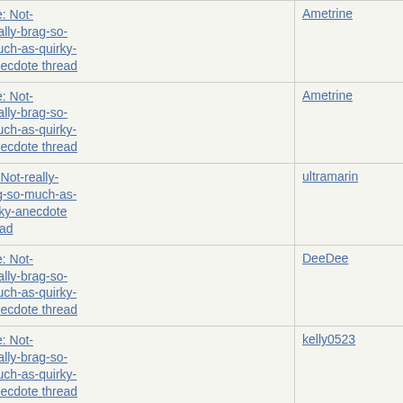| Subject | Author |
| --- | --- |
| Re: Not-really-brag-so-much-as-quirky-anecdote thread | Ametrine |
| Re: Not-really-brag-so-much-as-quirky-anecdote thread | Ametrine |
| Re: Not-really-brag-so-much-as-quirky-anecdote thread | ultramarin |
| Re: Not-really-brag-so-much-as-quirky-anecdote thread | DeeDee |
| Re: Not-really-brag-so-much-as-quirky-anecdote thread | kelly0523 |
| Re: Not-really-brag-so-much-as-quirky-anecdote thread | kelly0523 |
| Re: Not-really-brag-so-much-as-quirky-anecdote thread | doubtful |